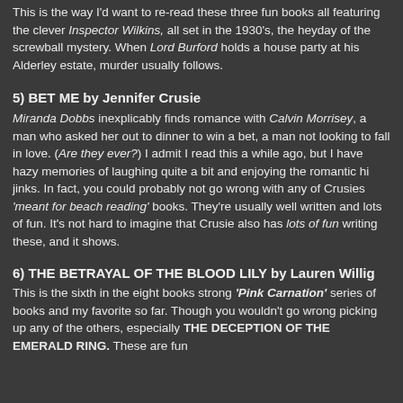This is the way I'd want to re-read these three fun books all featuring the clever Inspector Wilkins, all set in the 1930's, the heyday of the screwball mystery. When Lord Burford holds a house party at his Alderley estate, murder usually follows.
5) BET ME by Jennifer Crusie
Miranda Dobbs inexplicably finds romance with Calvin Morrisey, a man who asked her out to dinner to win a bet, a man not looking to fall in love. (Are they ever?) I admit I read this a while ago, but I have hazy memories of laughing quite a bit and enjoying the romantic hi jinks. In fact, you could probably not go wrong with any of Crusies 'meant for beach reading' books. They're usually well written and lots of fun. It's not hard to imagine that Crusie also has lots of fun writing these, and it shows.
6) THE BETRAYAL OF THE BLOOD LILY by Lauren Willig
This is the sixth in the eight books strong 'Pink Carnation' series of books and my favorite so far. Though you wouldn't go wrong picking up any of the others, especially THE DECEPTION OF THE EMERALD RING. These are fun